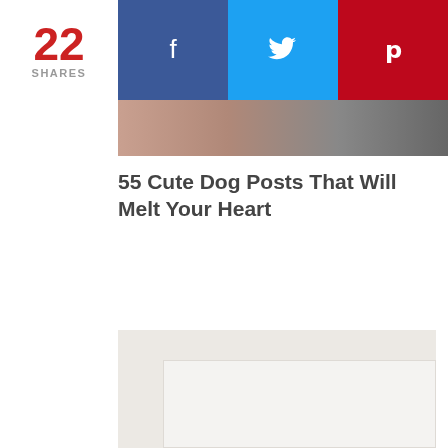22 SHARES
[Figure (screenshot): Social share bar with Facebook (blue), Twitter (light blue), and Pinterest (red) buttons]
[Figure (photo): Partial thumbnail image of a dog, left portion showing skin/fur tones and right portion black]
55 Cute Dog Posts That Will Melt Your Heart
[Figure (photo): Large white/light gray placeholder image area below the article card]